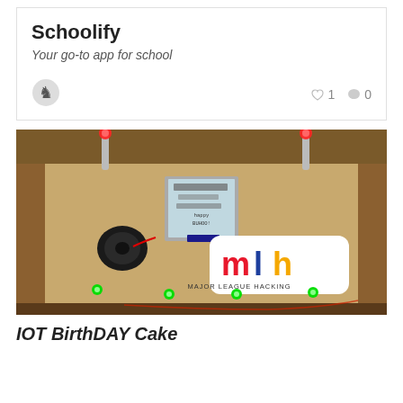Schoolify
Your go-to app for school
[Figure (photo): A cardboard box hardware prototype with LEDs (red on top, green on bottom), a small LCD screen displaying text, a buzzer component, and an MLH (Major League Hacking) sticker on a cardboard surface.]
IOT BirthDAY Cake